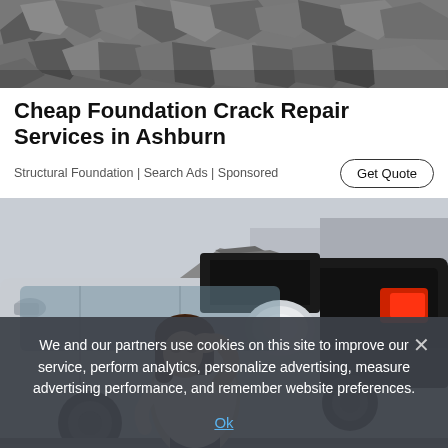[Figure (photo): Aerial/close-up photo of rocky rubble and gravel, brownish-grey tones, outdoor construction or demolition site debris]
Cheap Foundation Crack Repair Services in Ashburn
Structural Foundation | Search Ads | Sponsored
[Figure (photo): A distressed woman with dark hair, hand on forehead, standing in front of two cars involved in a rear-end collision. Silver car with damaged hood on left, dark car on right.]
We and our partners use cookies on this site to improve our service, perform analytics, personalize advertising, measure advertising performance, and remember website preferences.
Ok